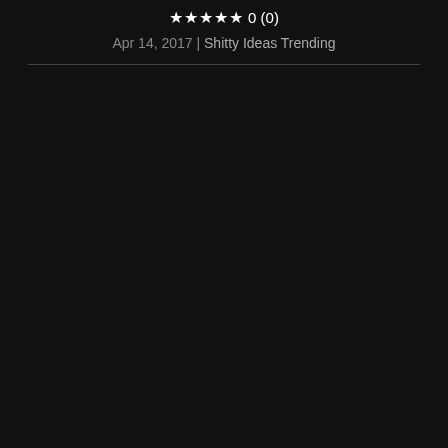★★★★★ 0 (0)
Apr 14, 2017 | Shitty Ideas Trending